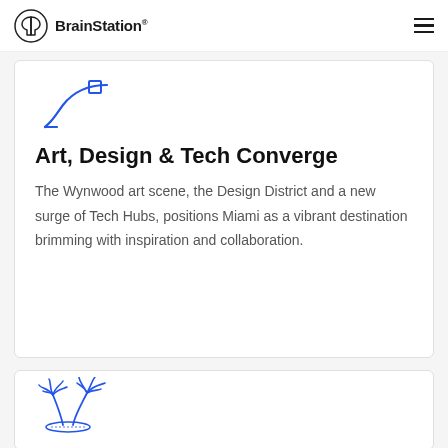BrainStation®
[Figure (illustration): Blue line drawing of a stylized angle/corner shape (design/tech icon)]
Art, Design & Tech Converge
The Wynwood art scene, the Design District and a new surge of Tech Hubs, positions Miami as a vibrant destination brimming with inspiration and collaboration.
[Figure (illustration): Blue line drawing of two palm trees on an island]
Lifestyle